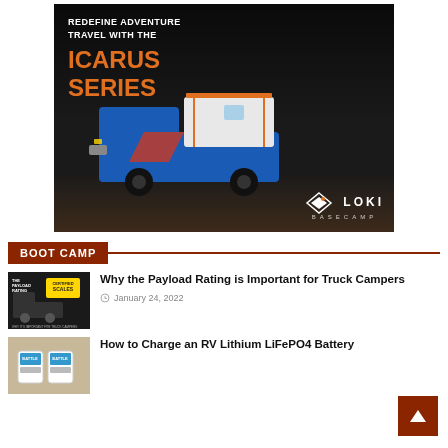[Figure (photo): Advertisement banner for LOKI BASECAMP featuring a blue truck with camper on a dark background. Text reads 'REDEFINE ADVENTURE TRAVEL WITH THE ICARUS SERIES' with LOKI BASECAMP logo.]
BOOT CAMP
[Figure (photo): Thumbnail image for article about Payload Rating, showing dark background with yellow scales graphic and text 'The Payload Rating - Why it's important for truck campers']
Why the Payload Rating is Important for Truck Campers
January 24, 2022
[Figure (photo): Thumbnail image for article about RV Lithium LiFePO4 Battery charging, showing battery equipment on a table]
How to Charge an RV Lithium LiFePO4 Battery